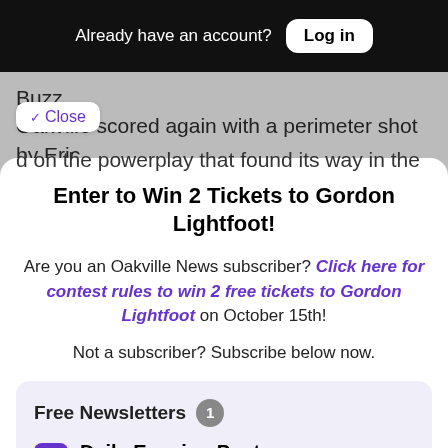Already have an account? Log in
Buzz. Oakville scored again with a perimeter shot by Eric d on the powerplay that found its way in the
Close
Enter to Win 2 Tickets to Gordon Lightfoot!
Are you an Oakville News subscriber? Click here for contest rules to win 2 free tickets to Gordon Lightfoot on October 15th!
Not a subscriber? Subscribe below now.
Free Newsletters 1
Daily Evening Post
Sent Daily at 6:00 PM